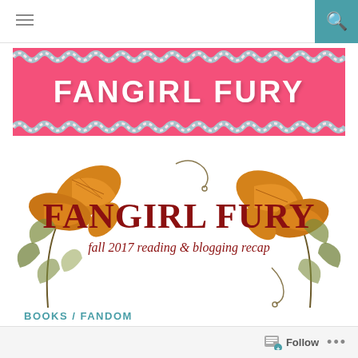[Figure (screenshot): Navigation bar with hamburger menu icon on left and teal search button on right]
[Figure (logo): Fangirl Fury blog banner — hot pink background with teal and white decorative wavy pattern borders, white text reading FANGIRL FURY]
[Figure (illustration): Fangirl Fury fall 2017 reading and blogging recap — dark red handwritten-style text, autumn leaves and botanical illustration on sides]
BOOKS / FANDOM
[Figure (screenshot): Bottom bar with Follow button and ellipsis menu]